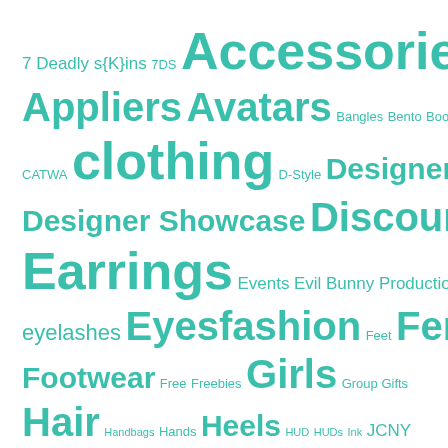[Figure (infographic): Tag cloud with terms related to Second Life fashion and accessories, rendered in teal/turquoise color with varying font sizes indicating frequency/importance. Terms include: 7 Deadly s{K}ins, 7DS, Accessories, Apparel, Appliers, Avatars, Bangles, Bento, Boots, Bracelets, CATWA, clothing, D-Style, Designer Circle, Designer Showcase, Discounts, Dresses, Earrings, Events, Evil Bunny Productions, Exclusives, eyelashes, Eyes, fashion, Feet, Females, Footwear, Free, Freebies, Girls, Group Gifts, Hair, Handbags, Hands, Heels, HUD, HUDs, Ink, JCNY, Jewelry, Ladies, Lara, Linden Labs]